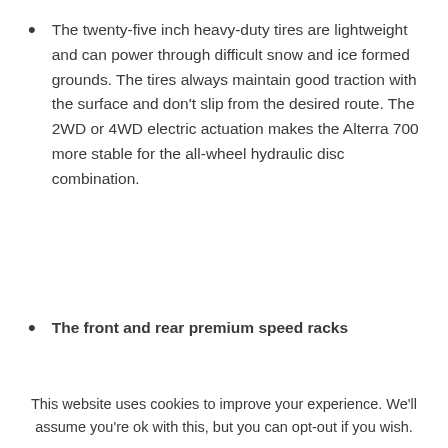The twenty-five inch heavy-duty tires are lightweight and can power through difficult snow and ice formed grounds. The tires always maintain good traction with the surface and don't slip from the desired route. The 2WD or 4WD electric actuation makes the Alterra 700 more stable for the all-wheel hydraulic disc combination.
The front and rear premium speed racks
This website uses cookies to improve your experience. We'll assume you're ok with this, but you can opt-out if you wish.